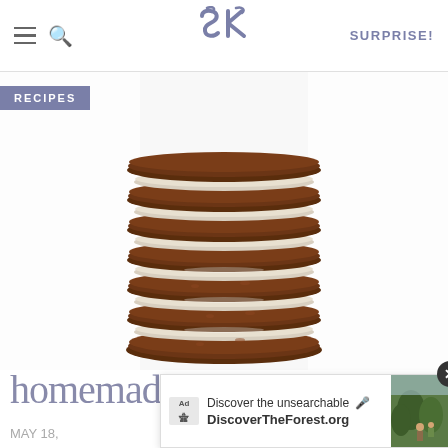SK | SURPRISE!
[Figure (photo): Close-up stack of homemade Oreo sandwich cookies with chocolate wafers and white cream filling, stacked tall against a white background]
homemade oreos
MAY 18,
[Figure (screenshot): Advertisement overlay: 'Discover the unsearchable' for DiscoverTheForest.org with a photo of hikers in a forest]